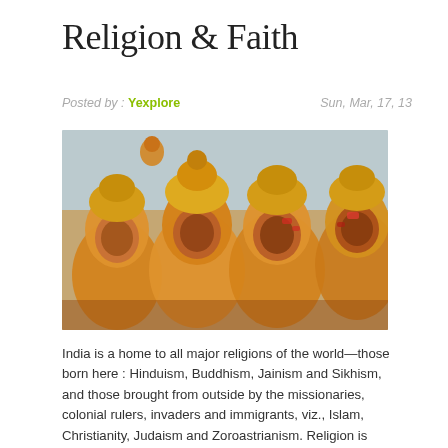Religion & Faith
Posted by : Yexplore   Sun, Mar, 17, 13
[Figure (photo): Colorful Hindu deity figures or performers in traditional golden and red costumes with elaborate headgear, photographed in a group close-up with a light blue sky background.]
India is a home to all major religions of the world—those born here : Hinduism, Buddhism, Jainism and Sikhism, and those brought from outside by the missionaries, colonial rulers, invaders and immigrants, viz., Islam, Christianity, Judaism and Zoroastrianism. Religion is central to Indian culture. These religions have developed and are presented as related to or independent of Hinduism—according to their leaders' and the theologians' traditions and beliefs.